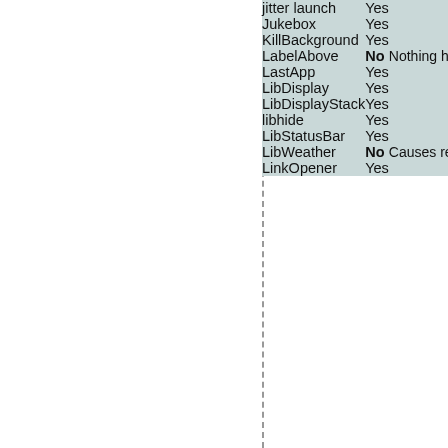| Name | Compatible | Notes |
| --- | --- | --- |
| jitter launch | Yes |  |
| Jukebox | Yes |  |
| KillBackground | Yes |  |
| LabelAbove | No | Nothing happens. |
| LastApp | Yes |  |
| LibDisplay | Yes |  |
| LibDisplayStack | Yes |  |
| libhide | Yes |  |
| LibStatusBar | Yes |  |
| LibWeather | No | Causes respring loop. |
| LinkOpener | Yes |  |